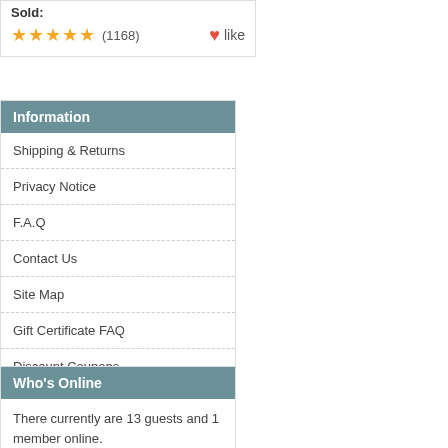Sold:
★★★★★ (1168) ♥like
Information
Shipping & Returns
Privacy Notice
F.A.Q
Contact Us
Site Map
Gift Certificate FAQ
Discount Coupons
Newsletter Unsubscribe
Who's Online
There currently are 13 guests and 1 member online.